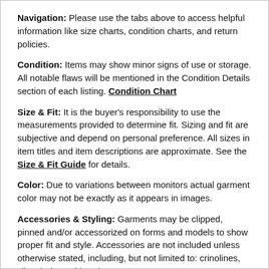Navigation: Please use the tabs above to access helpful information like size charts, condition charts, and return policies.
Condition: Items may show minor signs of use or storage. All notable flaws will be mentioned in the Condition Details section of each listing. Condition Chart
Size & Fit: It is the buyer's responsibility to use the measurements provided to determine fit. Sizing and fit are subjective and depend on personal preference. All sizes in item titles and item descriptions are approximate. See the Size & Fit Guide for details.
Color: Due to variations between monitors actual garment color may not be exactly as it appears in images.
Accessories & Styling: Garments may be clipped, pinned and/or accessorized on forms and models to show proper fit and style. Accessories are not included unless otherwise stated, including, but not limited to: crinolines, slips, belts and jewelry.
Combined Shipping: If you would like combined